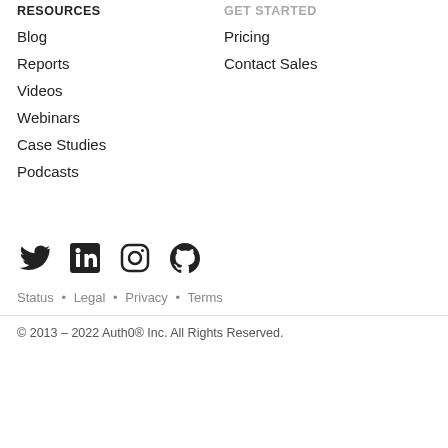RESOURCES
GET STARTED
Blog
Pricing
Reports
Contact Sales
Videos
Webinars
Case Studies
Podcasts
[Figure (illustration): Social media icons: Twitter, LinkedIn, Instagram, GitHub]
Status • Legal • Privacy • Terms
© 2013 – 2022 Auth0® Inc. All Rights Reserved.